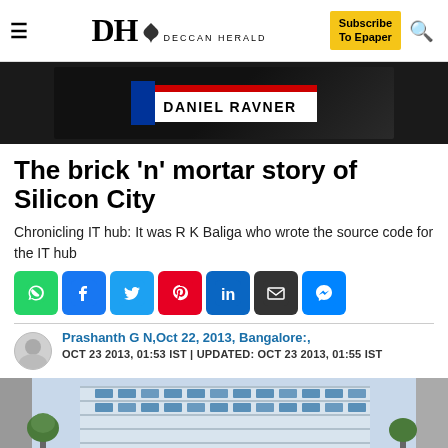Deccan Herald — Subscribe To Epaper
[Figure (photo): Dark background advertisement image with a name tag reading DANIEL RAVNER]
The brick 'n' mortar story of Silicon City
Chronicling IT hub: It was R K Baliga who wrote the source code for the IT hub
[Figure (infographic): Social sharing icons row: WhatsApp, Facebook, Twitter, Pinterest, LinkedIn, Email, Messenger]
Prashanth G N,Oct 22, 2013, Bangalore:,
OCT 23 2013, 01:53 IST | UPDATED: OCT 23 2013, 01:55 IST
[Figure (photo): Modern office building exterior with glass facade against a cloudy sky]
[Figure (infographic): The Perspective advertisement overlay with text SEE WHAT YOU'RE MISSING and READ MORE button]